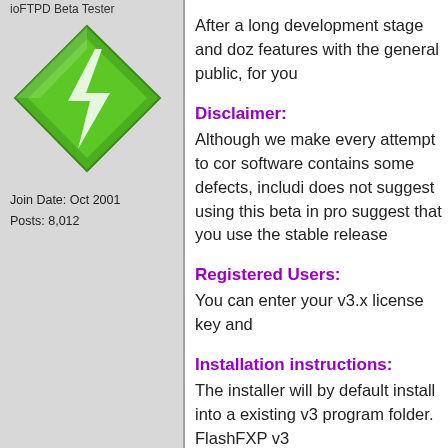ioFTPD Beta Tester
[Figure (logo): Green diamond-shaped lightning bolt logo (FlashFXP icon)]
Join Date: Oct 2001
Posts: 8,012
After a long development stage and doz features with the general public, for you
Disclaimer:
Although we make every attempt to cor software contains some defects, includi does not suggest using this beta in pro suggest that you use the stable release
Registered Users:
You can enter your v3.x license key and
Installation instructions:
The installer will by default install into a existing v3 program folder. FlashFXP v3
Start FlashFXP, On start up FlashFXP w